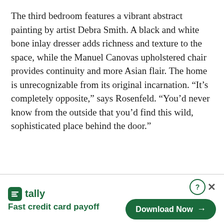The third bedroom features a vibrant abstract painting by artist Debra Smith. A black and white bone inlay dresser adds richness and texture to the space, while the Manuel Canovas upholstered chair provides continuity and more Asian flair. The home is unrecognizable from its original incarnation. “It’s completely opposite,” says Rosenfeld. “You’d never know from the outside that you’d find this wild, sophisticated place behind the door.”
[Figure (other): Tally app advertisement banner with logo, tagline 'Fast credit card payoff', and a 'Download Now' button]